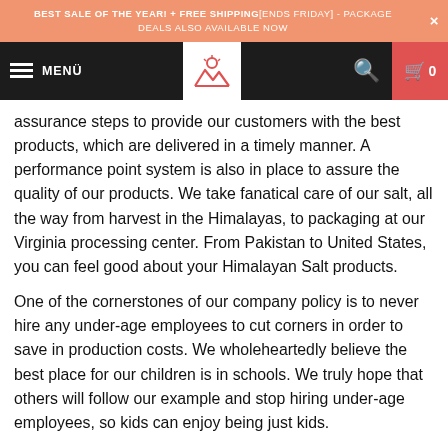BEST SALE OF THE YEAR! + FREE SHIPPING [ENDS FRIDAY] - PACKAGE DEALS ALSO AVAILABLE NOW
MENÜ — Logo — Search — Cart 0
assurance steps to provide our customers with the best products, which are delivered in a timely manner. A performance point system is also in place to assure the quality of our products. We take fanatical care of our salt, all the way from harvest in the Himalayas, to packaging at our Virginia processing center. From Pakistan to United States, you can feel good about your Himalayan Salt products.
One of the cornerstones of our company policy is to never hire any under-age employees to cut corners in order to save in production costs. We wholeheartedly believe the best place for our children is in schools. We truly hope that others will follow our example and stop hiring under-age employees, so kids can enjoy being just kids.
Our highly skilled labor force craft these products from natural rock salt also known as Himalayan salt, mined from salt beds created from eons which dried out over 250 million years ago